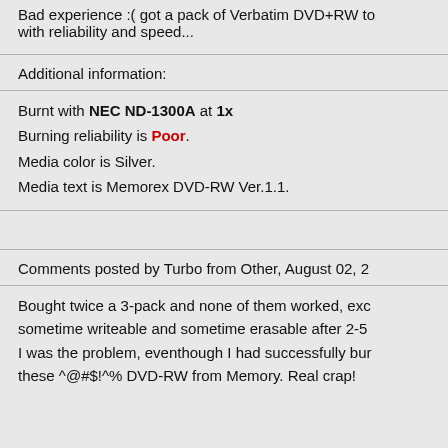Bad experience :( got a pack of Verbatim DVD+RW to with reliability and speed...
Additional information:
Burnt with NEC ND-1300A at 1x
Burning reliability is Poor.
Media color is Silver.
Media text is Memorex DVD-RW Ver.1.1.
Comments posted by Turbo from Other, August 02, 2
Bought twice a 3-pack and none of them worked, exc sometime writeable and sometime erasable after 2-5 I was the problem, eventhough I had successfully bur these ^@#$!^% DVD-RW from Memory. Real crap!